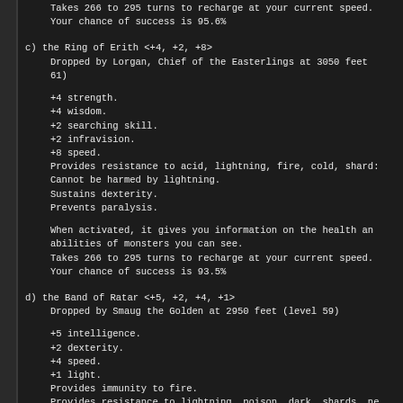Takes 266 to 295 turns to recharge at your current speed.
    Your chance of success is 95.6%
c) the Ring of Erith <+4, +2, +8>
Dropped by Lorgan, Chief of the Easterlings at 3050 feet (level 61)
+4 strength.
+4 wisdom.
+2 searching skill.
+2 infravision.
+8 speed.
Provides resistance to acid, lightning, fire, cold, shards.
Cannot be harmed by lightning.
Sustains dexterity.
Prevents paralysis.
When activated, it gives you information on the health and abilities of monsters you can see.
Takes 266 to 295 turns to recharge at your current speed.
Your chance of success is 93.5%
d) the Band of Ratar <+5, +2, +4, +1>
Dropped by Smaug the Golden at 2950 feet (level 59)
+5 intelligence.
+2 dexterity.
+4 speed.
+1 light.
Provides immunity to fire.
Provides resistance to lightning, poison, dark, shards, nexus, disenchantment.
Cannot be harmed by lightning.
Sustains wisdom, constitution.
Prevents paralysis.
When activated, it heals cut damage, and cures all stunning, poison, blindness and confusion.